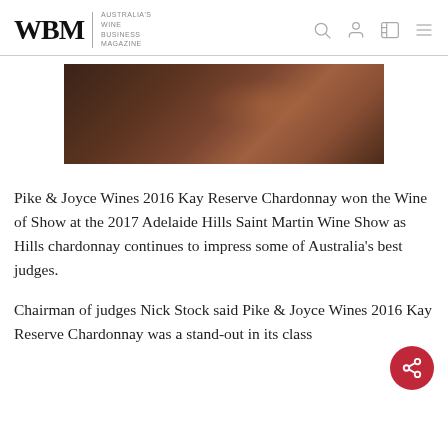WBM — Australia's Wine Business Magazine
[Figure (photo): Dark reddish-brown hero image, likely a winery or wine-related scene with amber/rust tones]
Pike & Joyce Wines 2016 Kay Reserve Chardonnay won the Wine of Show at the 2017 Adelaide Hills Saint Martin Wine Show as Hills chardonnay continues to impress some of Australia's best judges.
Chairman of judges Nick Stock said Pike & Joyce Wines 2016 Kay Reserve Chardonnay was a stand-out in its class